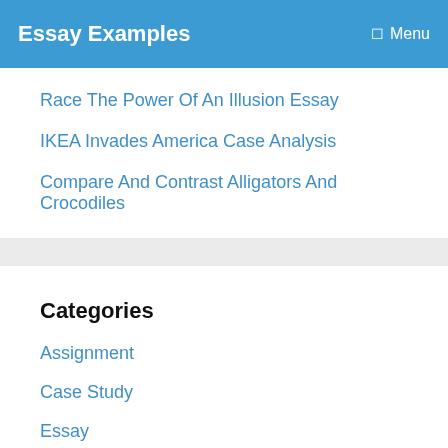Essay Examples   Menu
Race The Power Of An Illusion Essay
IKEA Invades America Case Analysis
Compare And Contrast Alligators And Crocodiles
Categories
Assignment
Case Study
Essay